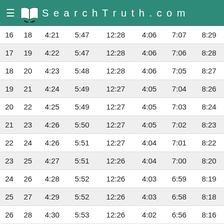SearchTruth.com
| 16 | 18 | 4:21 | 5:47 | 12:28 | 4:06 | 7:07 | 8:29 |
| 17 | 19 | 4:22 | 5:47 | 12:28 | 4:06 | 7:06 | 8:28 |
| 18 | 20 | 4:23 | 5:48 | 12:28 | 4:06 | 7:05 | 8:27 |
| 19 | 21 | 4:24 | 5:49 | 12:27 | 4:05 | 7:04 | 8:26 |
| 20 | 22 | 4:25 | 5:49 | 12:27 | 4:05 | 7:03 | 8:24 |
| 21 | 23 | 4:26 | 5:50 | 12:27 | 4:05 | 7:02 | 8:23 |
| 22 | 24 | 4:26 | 5:51 | 12:27 | 4:04 | 7:01 | 8:22 |
| 23 | 25 | 4:27 | 5:51 | 12:26 | 4:04 | 7:00 | 8:20 |
| 24 | 26 | 4:28 | 5:52 | 12:26 | 4:03 | 6:59 | 8:19 |
| 25 | 27 | 4:29 | 5:52 | 12:26 | 4:03 | 6:58 | 8:18 |
| 26 | 28 | 4:30 | 5:53 | 12:26 | 4:02 | 6:56 | 8:16 |